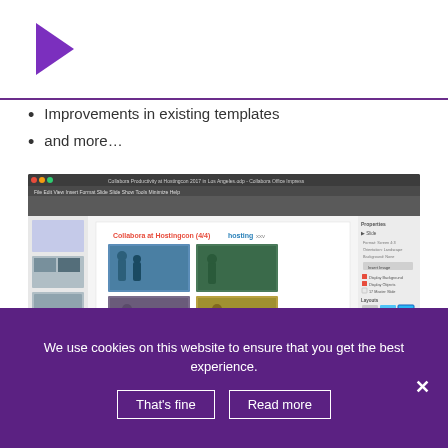[Figure (logo): Purple arrow/play button logo pointing right]
Improvements in existing templates
and more…
[Figure (screenshot): Screenshot of Collabora Office Impress application showing a presentation slide titled 'Collabora at Hostingcon (4/4)' with four conference photos arranged in a 2x2 grid, with slide panel on left and properties panel on right]
We use cookies on this website to ensure that you get the best experience.
That's fine   Read more